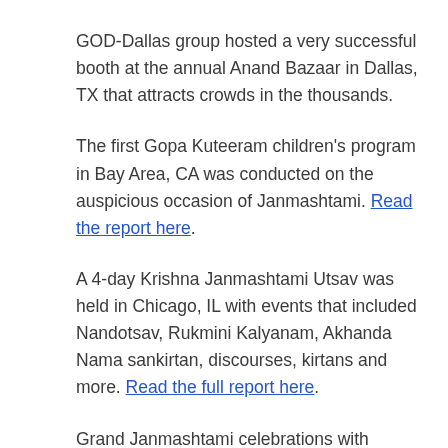GOD-Dallas group hosted a very successful booth at the annual Anand Bazaar in Dallas, TX that attracts crowds in the thousands.
The first Gopa Kuteeram children's program in Bay Area, CA was conducted on the auspicious occasion of Janmashtami. Read the report here.
A 4-day Krishna Janmashtami Utsav was held in Chicago, IL with events that included Nandotsav, Rukmini Kalyanam, Akhanda Nama sankirtan, discourses, kirtans and more. Read the full report here.
Grand Janmashtami celebrations with children's programs and performances were also held in Holland, MI and in Seattle, WA. Read the Michigan celebrations report here.